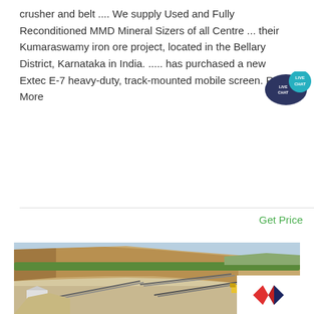crusher and belt .... We supply Used and Fully Reconditioned MMD Mineral Sizers of all Centre ... their Kumaraswamy iron ore project, located in the Bellary District, Karnataka in India. ..... has purchased a new Extec E-7 heavy-duty, track-mounted mobile screen. Read More
Get Price
[Figure (photo): Outdoor photo of a quarry or mining site with large yellowish-orange rock face/cliff in the background, green trees and hilly terrain visible in the distance, and mining/crushing equipment including conveyor belts and machinery in the foreground. A small white building is visible on the left.]